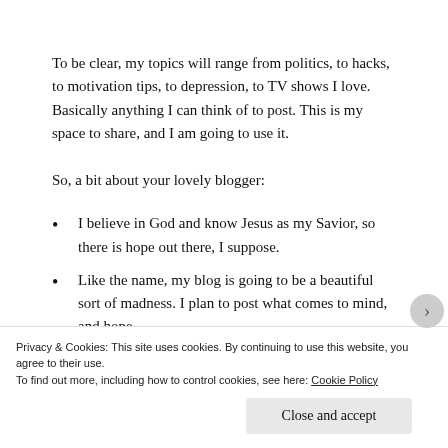To be clear, my topics will range from politics, to hacks, to motivation tips, to depression, to TV shows I love. Basically anything I can think of to post. This is my space to share, and I am going to use it.
So, a bit about your lovely blogger:
I believe in God and know Jesus as my Savior, so there is hope out there, I suppose.
Like the name, my blog is going to be a beautiful sort of madness. I plan to post what comes to mind, and hope
Privacy & Cookies: This site uses cookies. By continuing to use this website, you agree to their use.
To find out more, including how to control cookies, see here: Cookie Policy
Close and accept